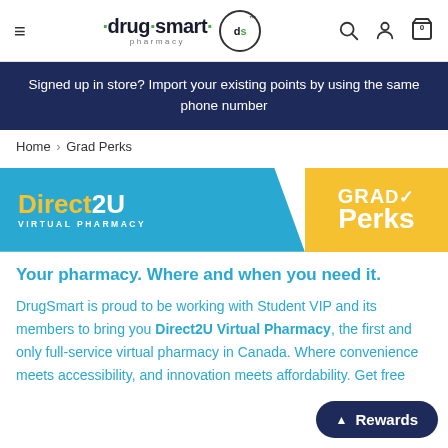drug smart pharmacy — navigation header with hamburger menu, logo, search, account, and cart icons
Signed up in store? Import your existing points by using the same phone number
Home > Grad Perks
[Figure (logo): Direct2U Virtual Pharmacy and GradPerks promotional banner — blue left section with 'Direct2U VIRTUAL PHARMACY' in yellow/white on teal background, right section gold/yellow with 'GRAD Perks' in white]
Your pharmacy. Where and when you need it.
DrugSmart is proud to be working with Student VIP and its members to bring you Direct2U Virtual Pharmacy, the first and only full-service virtual pharmacy in Canada. Where convenience meets accessibility, and innovation meets affordability. Get free
^ Rewards